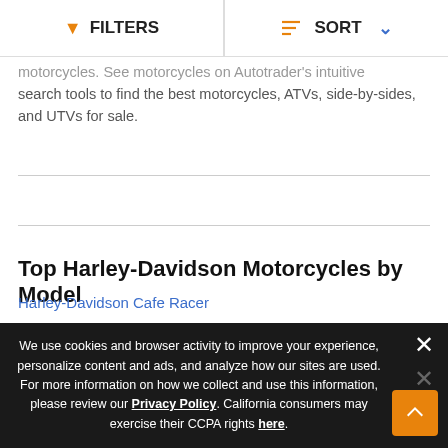FILTERS | SORT
motorcycles. See motorcycles on Autotrader's intuitive search tools to find the best motorcycles, ATVs, side-by-sides, and UTVs for sale.
Top Harley-Davidson Motorcycles by Model
Harley-Davidson Cafe Racer
Harley-Davidson CVO
Harley-Davidson Dyna
Harley-Davidson Electra Glide
We use cookies and browser activity to improve your experience, personalize content and ads, and analyze how our sites are used. For more information on how we collect and use this information, please review our Privacy Policy. California consumers may exercise their CCPA rights here.